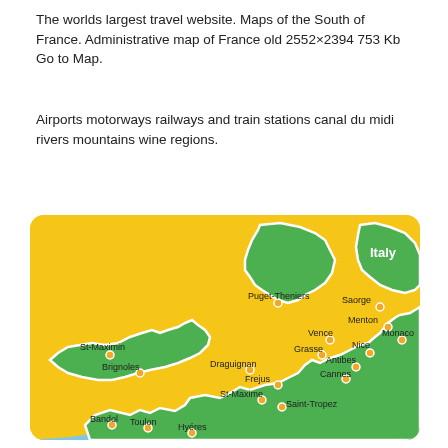The worlds largest travel website. Maps of the South of France. Administrative map of France old 2552×2394 753 Kb Go to Map.
Airports motorways railways and train stations canal du midi rivers mountains wine regions.
[Figure (map): Map of South of France (Côte d'Azur / Provence region) showing cities including Puget-Theniers, Saorge, Menton, Monaco, Nice, Vence, Grasse, Antibes, Cannes, Draguignan, Frejus, St-Maxime, Saint-Tropez, Brignoles, St-Maximin, Bandol, Toulon, Hyeres. Green land regions bordered by Italy label, yellow surrounding area, blue sea (Mediterranean).]